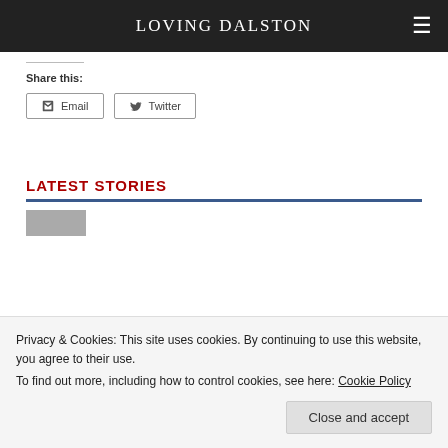LOVING DALSTON
Share this:
Email  Twitter
LATEST STORIES
Privacy & Cookies: This site uses cookies. By continuing to use this website, you agree to their use.
To find out more, including how to control cookies, see here: Cookie Policy
Close and accept